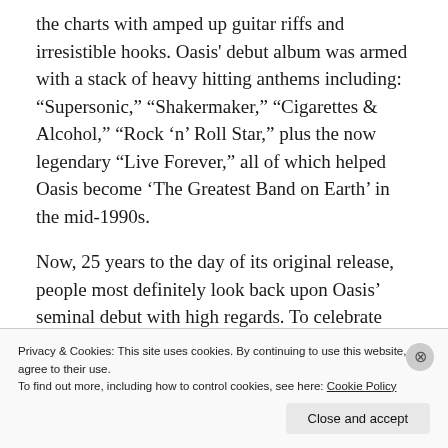the charts with amped up guitar riffs and irresistible hooks. Oasis' debut album was armed with a stack of heavy hitting anthems including: “Supersonic,” “Shakermaker,” “Cigarettes & Alcohol,” “Rock ‘n’ Roll Star,” plus the now legendary “Live Forever,” all of which helped Oasis become ‘The Greatest Band on Earth’ in the mid-1990s.
Now, 25 years to the day of its original release, people most definitely look back upon Oasis’ seminal debut with high regards. To celebrate
Privacy & Cookies: This site uses cookies. By continuing to use this website, you agree to their use.
To find out more, including how to control cookies, see here: Cookie Policy
Close and accept